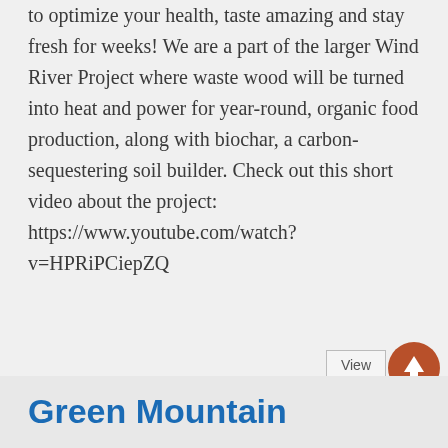to optimize your health, taste amazing and stay fresh for weeks! We are a part of the larger Wind River Project where waste wood will be turned into heat and power for year-round, organic food production, along with biochar, a carbon-sequestering soil builder. Check out this short video about the project: https://www.youtube.com/watch?v=HPRiPCiepZQ
Green Mountain